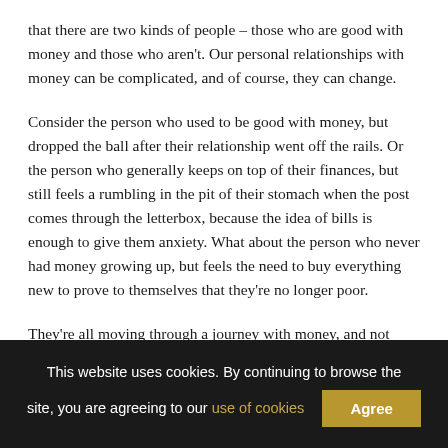that there are two kinds of people – those who are good with money and those who aren't. Our personal relationships with money can be complicated, and of course, they can change.
Consider the person who used to be good with money, but dropped the ball after their relationship went off the rails. Or the person who generally keeps on top of their finances, but still feels a rumbling in the pit of their stomach when the post comes through the letterbox, because the idea of bills is enough to give them anxiety. What about the person who never had money growing up, but feels the need to buy everything new to prove to themselves that they're no longer poor.
They're all moving through a journey with money, and not necessarily in one direction. And if you asked any of these
This website uses cookies. By continuing to browse the site, you are agreeing to our use of cookies  Agree